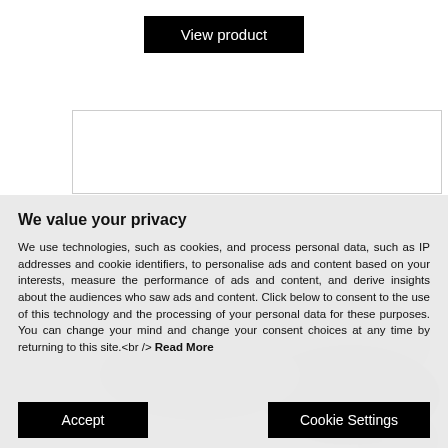View product
[Figure (photo): White rectangular box/product image placeholder with border]
We value your privacy
We use technologies, such as cookies, and process personal data, such as IP addresses and cookie identifiers, to personalise ads and content based on your interests, measure the performance of ads and content, and derive insights about the audiences who saw ads and content. Click below to consent to the use of this technology and the processing of your personal data for these purposes. You can change your mind and change your consent choices at any time by returning to this site.<br /> Read More
Accept
Cookie Settings